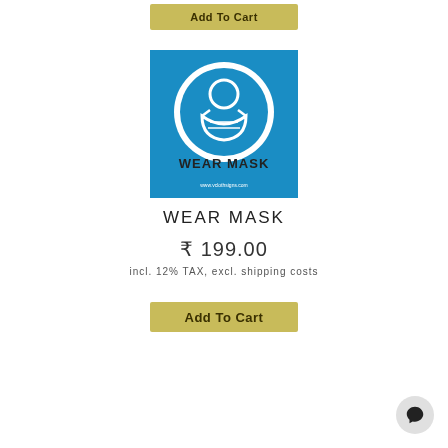Add To Cart
[Figure (illustration): Blue square sign showing a person wearing a face mask inside a white circle, with text WEAR MASK below in bold black letters and a small URL beneath]
WEAR MASK
₹ 199.00
incl. 12% TAX, excl. shipping costs
Add To Cart